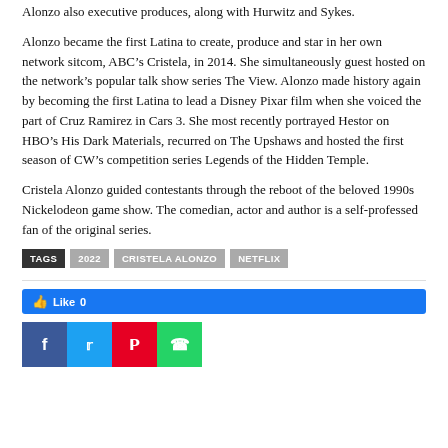Alonzo also executive produces, along with Hurwitz and Sykes.
Alonzo became the first Latina to create, produce and star in her own network sitcom, ABC’s Cristela, in 2014. She simultaneously guest hosted on the network’s popular talk show series The View. Alonzo made history again by becoming the first Latina to lead a Disney Pixar film when she voiced the part of Cruz Ramirez in Cars 3. She most recently portrayed Hestor on HBO’s His Dark Materials, recurred on The Upshaws and hosted the first season of CW’s competition series Legends of the Hidden Temple.
Cristela Alonzo guided contestants through the reboot of the beloved 1990s Nickelodeon game show. The comedian, actor and author is a self-professed fan of the original series.
TAGS  2022  CRISTELA ALONZO  NETFLIX
[Figure (other): Like button (Facebook Like 0) and social sharing buttons: Facebook (blue), Twitter (light blue), Pinterest (red), WhatsApp (green)]